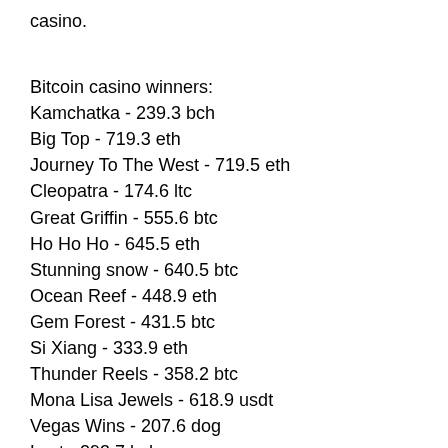casino.
Bitcoin casino winners:
Kamchatka - 239.3 bch
Big Top - 719.3 eth
Journey To The West - 719.5 eth
Cleopatra - 174.6 ltc
Great Griffin - 555.6 btc
Ho Ho Ho - 645.5 eth
Stunning snow - 640.5 btc
Ocean Reef - 448.9 eth
Gem Forest - 431.5 btc
Si Xiang - 333.9 eth
Thunder Reels - 358.2 btc
Mona Lisa Jewels - 618.9 usdt
Vegas Wins - 207.6 dog
Lost - 293.7 bch
Book of Crazy Chicken Golden Nights - 641.3 usdt